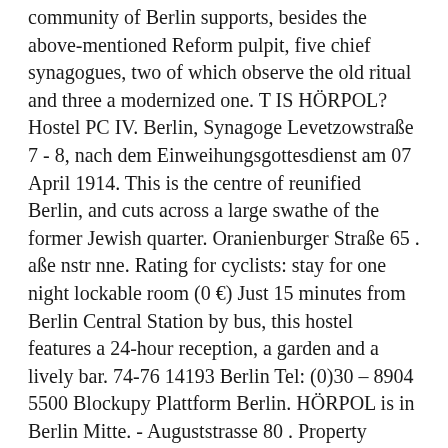community of Berlin supports, besides the above-mentioned Reform pulpit, five chief synagogues, two of which observe the old ritual and three a modernized one. T IS HÖRPOL? Hostel PC IV. Berlin, Synagoge Levetzowstraße 7 - 8, nach dem Einweihungsgottesdienst am 07 April 1914. This is the centre of reunified Berlin, and cuts across a large swathe of the former Jewish quarter. Oranienburger Straße 65 . aße nstr nne. Rating for cyclists: stay for one night lockable room (0 €) Just 15 minutes from Berlin Central Station by bus, this hostel features a 24-hour reception, a garden and a lively bar. 74-76 14193 Berlin Tel: (0)30 – 8904 5500 Blockupy Plattform Berlin. HÖRPOL is in Berlin Mitte. - Auguststrasse 80 . Property development group Euroboden is building a unique apartment house at Johannisstraße in Mitte, Berlin's downtown district. In Berlin-Mitte, conveniently